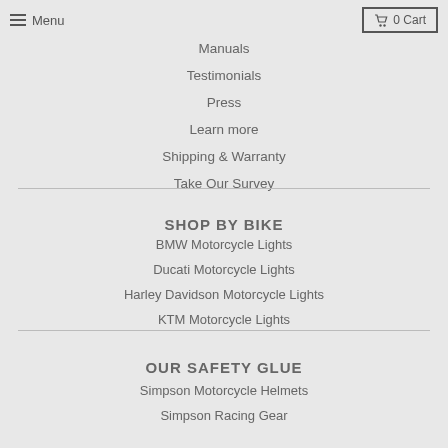Menu  0 Cart
Manuals
Testimonials
Press
Learn more
Shipping & Warranty
Take Our Survey
SHOP BY BIKE
BMW Motorcycle Lights
Ducati Motorcycle Lights
Harley Davidson Motorcycle Lights
KTM Motorcycle Lights
OUR SAFETY GLUE
Simpson Motorcycle Helmets
Simpson Racing Gear